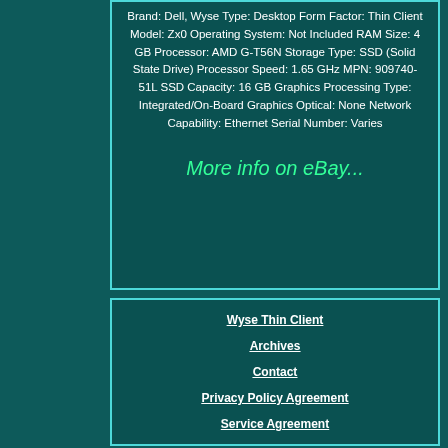Brand: Dell, Wyse Type: Desktop Form Factor: Thin Client Model: Zx0 Operating System: Not Included RAM Size: 4 GB Processor: AMD G-T56N Storage Type: SSD (Solid State Drive) Processor Speed: 1.65 GHz MPN: 909740-51L SSD Capacity: 16 GB Graphics Processing Type: Integrated/On-Board Graphics Optical: None Network Capability: Ethernet Serial Number: Varies
More info on eBay...
Wyse Thin Client
Archives
Contact
Privacy Policy Agreement
Service Agreement